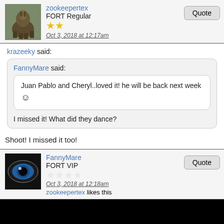zookeepertex
FORT Regular
Oct 3, 2018 at 12:17am
krazeeky said:
FannyMare said:
Juan Pablo and Cheryl..loved it! he will be back next week 🙂
I missed it! What did they dance?
Shoot! I missed it too!
FannyMare
FORT VIP
Oct 3, 2018 at 12:18am
zookeepertex likes this